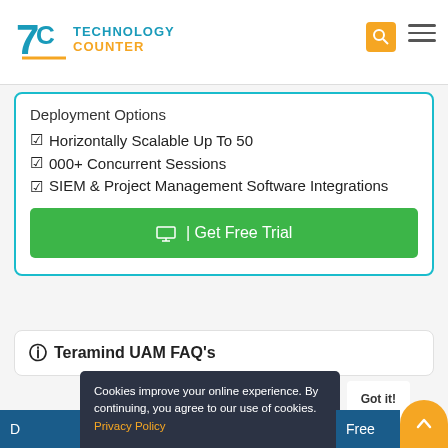[Figure (logo): Technology Counter logo with teal TC icon and orange/teal text]
Deployment Options
✅ Horizontally Scalable Up To 50
✅ 000+ Concurrent Sessions
✅ SIEM & Project Management Software Integrations
🖥 | Get Free Trial
❓ Teramind UAM FAQ's
Cookies improve your online experience. By continuing, you agree to our use of cookies. Privacy Policy
Got it!